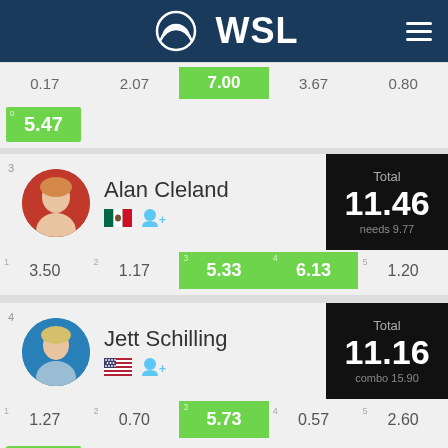WSL
| 1 | 2 | 3 | 4 | 5 |
| --- | --- | --- | --- | --- |
| 0.17 | 2.07 | 7.00 | 3.67 | 0.80 |
| 5.47 |
3 Alan Cleland — Total: 11.46, needs 9.77
| 1 | 2 | 3 | 4 | 5 |
| --- | --- | --- | --- | --- |
| 3.50 | 1.17 | 5.33 | 6.13 | 1.20 |
4 Jett Schilling — Total: 11.16, combo 15.90
| 1 | 2 | 3 | 4 | 5 |
| --- | --- | --- | --- | --- |
| 1.27 | 0.70 | 5.73 | 0.57 | 2.60 |
| 5.43 |